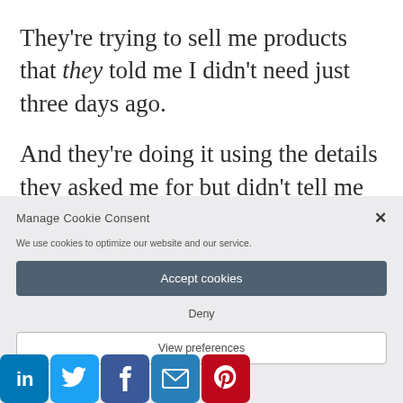They're trying to sell me products that they told me I didn't need just three days ago.
And they're doing it using the details they asked me for but didn't tell me they were going
[Figure (screenshot): Cookie consent dialog box with title 'Manage Cookie Consent', a close X button, description text 'We use cookies to optimize our website and our service.', an 'Accept cookies' button, a 'Deny' button, and a 'View preferences' button.]
[Figure (infographic): Social media sharing icons bar at the bottom: LinkedIn (blue), Twitter (light blue), Facebook (dark blue), Email (blue), Pinterest (red)]